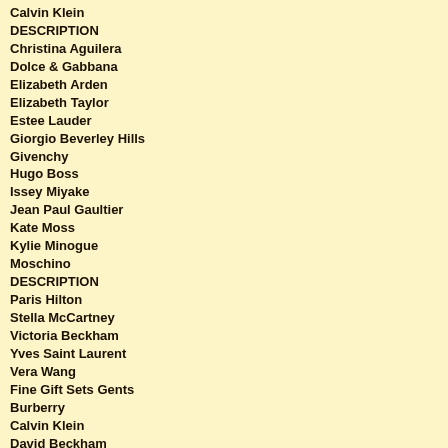Calvin Klein
DESCRIPTION
Christina Aguilera
Dolce & Gabbana
Elizabeth Arden
Elizabeth Taylor
Estee Lauder
Giorgio Beverley Hills
Givenchy
Hugo Boss
Issey Miyake
Jean Paul Gaultier
Kate Moss
Kylie Minogue
Moschino
DESCRIPTION
Paris Hilton
Stella McCartney
Victoria Beckham
Yves Saint Laurent
Vera Wang
Fine Gift Sets Gents
Burberry
Calvin Klein
David Beckham
Dolce & Gabbana
Giorgio Armani
Hugo Boss
DESCRIPTION
Yves Saint Laurent